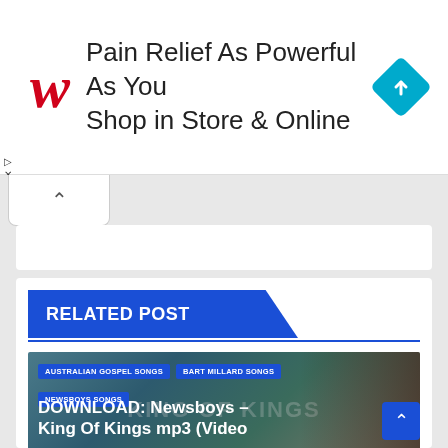[Figure (screenshot): Walgreens advertisement banner: red cursive W logo, text 'Pain Relief As Powerful As You Shop in Store & Online', blue diamond navigation icon on right]
[Figure (screenshot): Collapse/tab control area with upward chevron button and partial white card]
RELATED POST
[Figure (photo): Article thumbnail for 'DOWNLOAD: Newsboys – King Of Kings mp3 (Video)' showing a person in a baseball cap with tags: AUSTRALIAN GOSPEL SONGS, BART MILLARD SONGS, NEWSBOYS SONGS. Date: JUL 27, 2022, Author: ADMIN. Vevo watermark at bottom.]